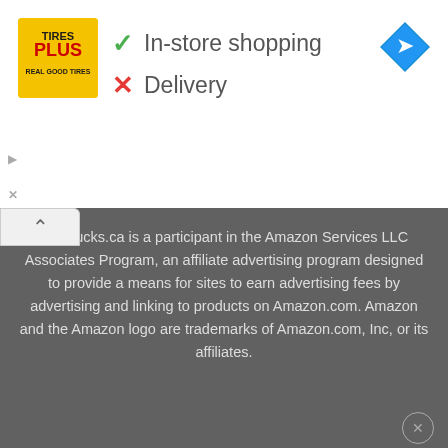[Figure (logo): Tires Plus logo — yellow square with Tires Plus text]
✓ In-store shopping
✗ Delivery
[Figure (logo): Blue diamond navigation/directions icon]
rtCanucks.ca is a participant in the Amazon Services LLC Associates Program, an affiliate advertising program designed to provide a means for sites to earn advertising fees by advertising and linking to products on Amazon.com. Amazon and the Amazon logo are trademarks of Amazon.com, Inc, or its affiliates.
Copyright ©SmartCanucks
Terms & Conditions • Privacy Policy
AN ELITE CAFEMEDIA PUBLISHER